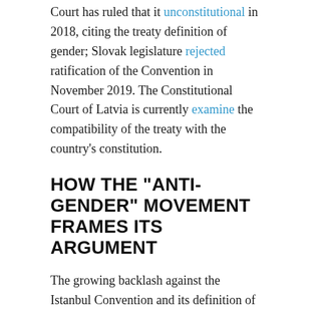Court has ruled that it unconstitutional in 2018, citing the treaty definition of gender; Slovak legislature rejected ratification of the Convention in November 2019. The Constitutional Court of Latvia is currently examine the compatibility of the treaty with the country's constitution.
HOW THE “ANTI-GENDER” MOVEMENT FRAMES ITS ARGUMENT
The growing backlash against the Istanbul Convention and its definition of gender is not an isolated phenomenon. Instead, it reflects the success of a transnational movement which has spread across Europe, Latin America and other parts of the world over the past decade. Supporters of this movement see themselves in a global battle against what they describe as “gender” or “gender ideology”. Although their campaigns take different forms in different countries, they are defined by important similarities in rhetoric and tactics.